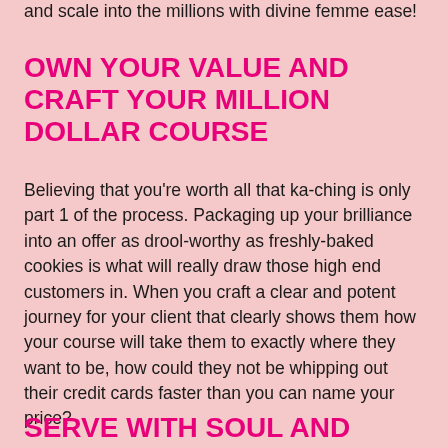and scale into the millions with divine femme ease!
OWN YOUR VALUE AND CRAFT YOUR MILLION DOLLAR COURSE
Believing that you're worth all that ka-ching is only part 1 of the process. Packaging up your brilliance into an offer as drool-worthy as freshly-baked cookies is what will really draw those high end customers in. When you craft a clear and potent journey for your client that clearly shows them how your course will take them to exactly where they want to be, how could they not be whipping out their credit cards faster than you can name your price?
SERVE WITH SOUL AND SELL